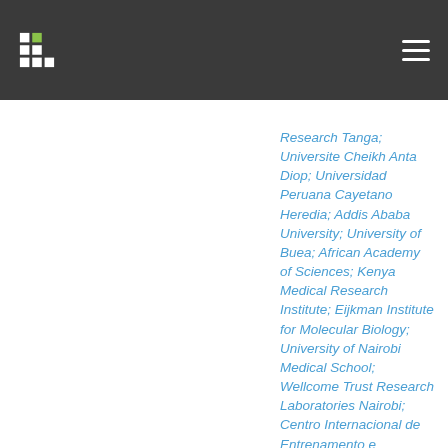Research Tanga; Universite Cheikh Anta Diop; Universidad Peruana Cayetano Heredia; Addis Ababa University; University of Buea; African Academy of Sciences; Kenya Medical Research Institute; Eijkman Institute for Molecular Biology; University of Nairobi Medical School; Wellcome Trust Research Laboratories Nairobi; Centro Internacional de Entrenamento e